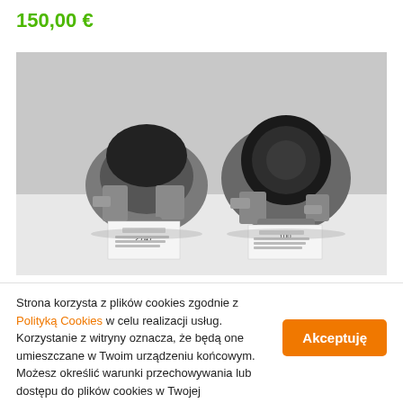150,00 €
[Figure (photo): Two automotive engine mounts / motor mounts with rubber and metal components, placed on a white surface with label tags attached. Left mount appears smaller with a barcode label showing '2747', right mount is larger with a round rubber element.]
Strona korzysta z plików cookies zgodnie z Polityką Cookies w celu realizacji usług. Korzystanie z witryny oznacza, że będą one umieszczane w Twoim urządzeniu końcowym. Możesz określić warunki przechowywania lub dostępu do plików cookies w Twojej przeglądarce.
Akceptuję